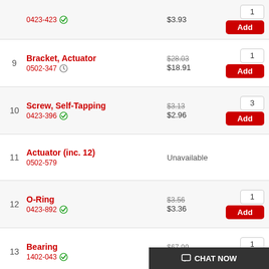0423-423 $3.93 Add qty:1
9 Bracket, Actuator 0502-347 $28.03 (orig) $18.91 qty:1 Add
10 Screw, Self-Tapping 0423-396 $3.13 (orig) $2.96 qty:3 Add
11 Actuator (inc. 12) 0502-579 Unavailable
12 O-Ring 0423-892 $3.56 (orig) $3.36 qty:1 Add
13 Bearing 1402-043 $67.99 (orig) $64.25 qty:1 Add
14 Screw, Self-Tapping 0423-118 $1.71 (orig) $1.62 Add